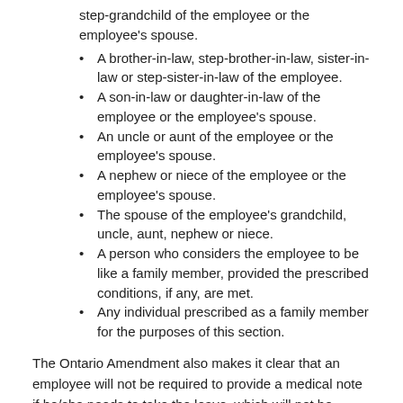step-grandchild of the employee or the employee's spouse.
A brother-in-law, step-brother-in-law, sister-in-law or step-sister-in-law of the employee.
A son-in-law or daughter-in-law of the employee or the employee's spouse.
An uncle or aunt of the employee or the employee's spouse.
A nephew or niece of the employee or the employee's spouse.
The spouse of the employee's grandchild, uncle, aunt, nephew or niece.
A person who considers the employee to be like a family member, provided the prescribed conditions, if any, are met.
Any individual prescribed as a family member for the purposes of this section.
The Ontario Amendment also makes it clear that an employee will not be required to provide a medical note if he/she needs to take the leave, which will not be subject to a predetermined time limit. However, the employer may require the employee to provide other evidence that